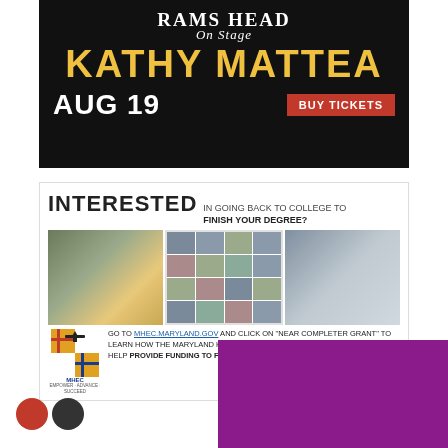[Figure (photo): Rams Head On Stage advertisement featuring Kathy Mattea concert on Aug 19, with a Buy Tickets button, on a dark background]
[Figure (infographic): MHEC Maryland Higher Education Commission advertisement asking 'Interested in going back to college to finish your degree?' with photos of diverse people and directions to visit MHEC.Maryland.gov for Near Completer Grant information]
[Figure (photo): Purple/magenta rectangle at bottom right of page, partial view of another advertisement]